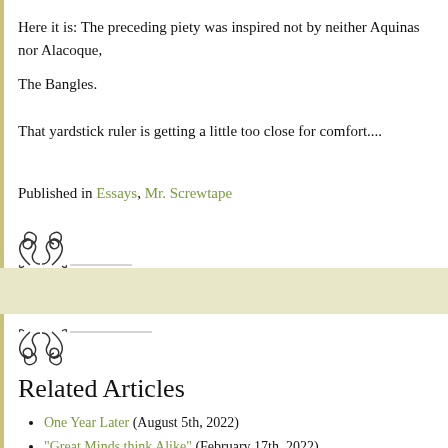Here it is: The preceding piety was inspired not by neither Aquinas nor Alacoque, but The Bangles.
That yardstick ruler is getting a little too close for comfort....
Published in Essays, Mr. Screwtape
Related Articles
One Year Later (August 5th, 2022)
"Great Minds think Alike" (February 17th, 2022)
A Response to José A. Ureta (February 16th, 2022)
Ultramontanism: Its Life and Death Part IV – Concluding Thoughts (D...)
Ultramontanism: its Life and Death Part III (2013-present) (December...)
No user responded in this post
Subscribe to this post comment rss or